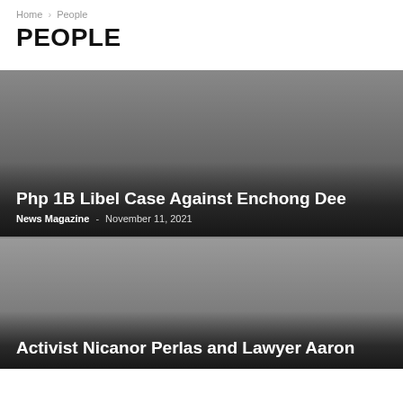Home > People
PEOPLE
[Figure (photo): Dark gray gradient background image for article card 1]
Php 1B Libel Case Against Enchong Dee
News Magazine - November 11, 2021
[Figure (photo): Medium gray gradient background image for article card 2]
Activist Nicanor Perlas and Lawyer Aaron